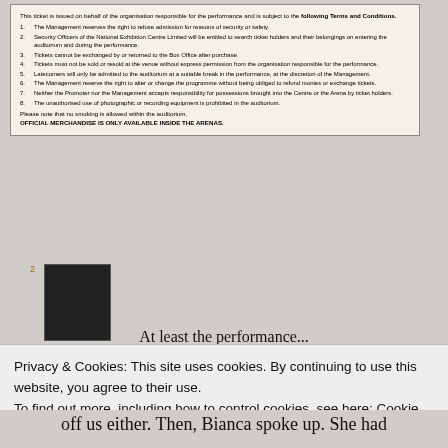[Figure (other): Scanned ticket back with terms and conditions text and a small dark square stamp/barcode image]
At least the performance...
Privacy & Cookies: This site uses cookies. By continuing to use this website, you agree to their use.
To find out more, including how to control cookies, see here: Cookie Policy
Close and accept
off us either. Then, Bianca spoke up. She had